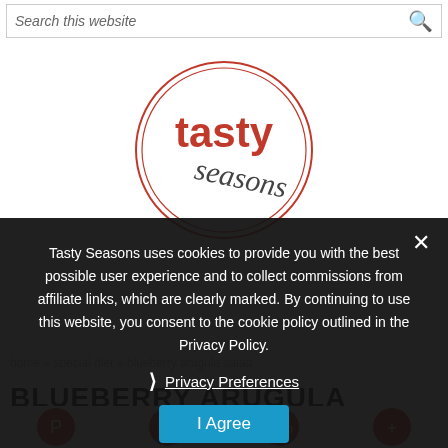Search this website
[Figure (logo): Tasty Seasons logo — circular red border with 'tasty' in bold red text and 'seasons' in dark gray cursive/italic text inside a circle]
Tasty Seasons uses cookies to provide you with the best possible user experience and to collect commissions from affiliate links, which are clearly marked. By continuing to use this website, you consent to the cookie policy outlined in the Privacy Policy.
Privacy Preferences
I Agree
home » special diet » blueberry arugula salad
BLUEBERRY ARUGULA SALAD
July 30, 2015